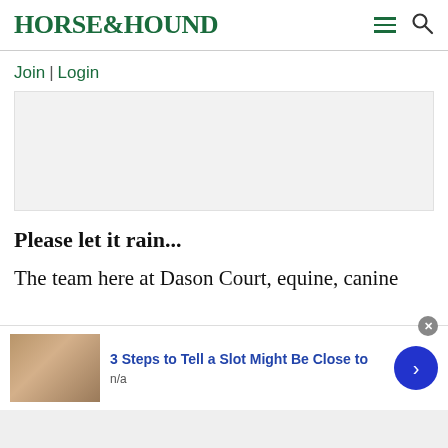HORSE&HOUND
Join | Login
[Figure (other): Advertisement placeholder – light grey rectangle]
Please let it rain...
The team here at Dason Court, equine, canine and h...
[Figure (other): Overlay advertisement banner: thumbnail image of a person, headline '3 Steps to Tell a Slot Might Be Close to', subtext 'n/a', close button, and blue arrow button]